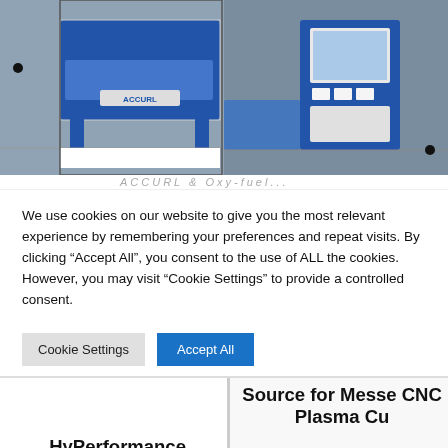[Figure (photo): Two industrial CNC plasma cutting machines in a factory setting. Left image shows a large blue and white table-style plasma cutter (ACCURL brand). Right image shows a CNC plasma cutter with a control panel/monitor. Two black bullet point dots are visible as slide indicators.]
We use cookies on our website to give you the most relevant experience by remembering your preferences and repeat visits. By clicking “Accept All”, you consent to the use of ALL the cookies. However, you may visit “Cookie Settings” to provide a controlled consent.
Cookie Settings   Accept All
HyPerformance HPR800XD Plasma Cutter & Oxy-fuel
Source for Messe CNC Plasma Cu…
Read more